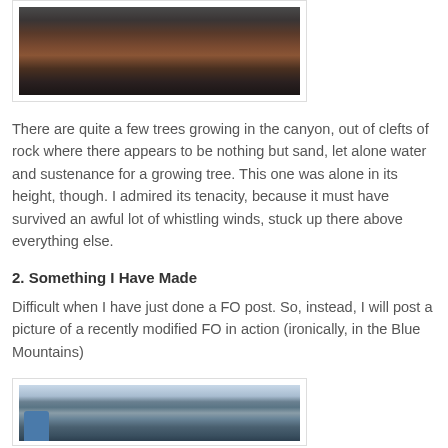[Figure (photo): Dark canyon landscape photo showing rocky ridgeline with reddish-brown rock formations against a dusky sky]
There are quite a few trees growing in the canyon, out of clefts of rock where there appears to be nothing but sand, let alone water and sustenance for a growing tree. This one was alone in its height, though. I admired its tenacity, because it must have survived an awful lot of whistling winds, stuck up there above everything else.
2. Something I Have Made
Difficult when I have just done a FO post. So, instead, I will post a picture of a recently modified FO in action (ironically, in the Blue Mountains)
[Figure (photo): Photo of a person in a blue jacket viewed from behind, looking out over a vast mountain valley with rocky cliffs and cloudy sky — the Blue Mountains]